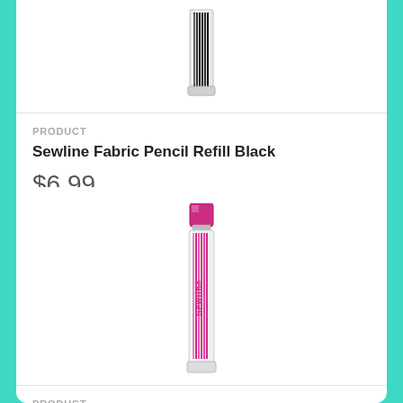[Figure (photo): Sewline Fabric Pencil Refill Black product in clear tube container, partially visible at top of page]
PRODUCT
Sewline Fabric Pencil Refill Black
$6.99
[Figure (photo): Sewline Fabric Pencil Refill pink/magenta, in clear tube container with pink cap, showing pink pencil leads inside with Sewline branding]
PRODUCT